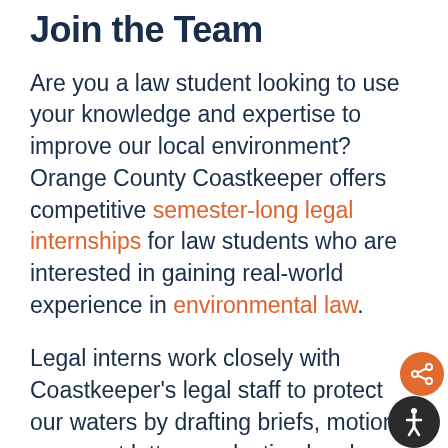Join the Team
Are you a law student looking to use your knowledge and expertise to improve our local environment? Orange County Coastkeeper offers competitive semester-long legal internships for law students who are interested in gaining real-world experience in environmental law.
Legal interns work closely with Coastkeeper's legal staff to protect our waters by drafting briefs, motions, comment letters, conducting legal research, case investigation and preparing